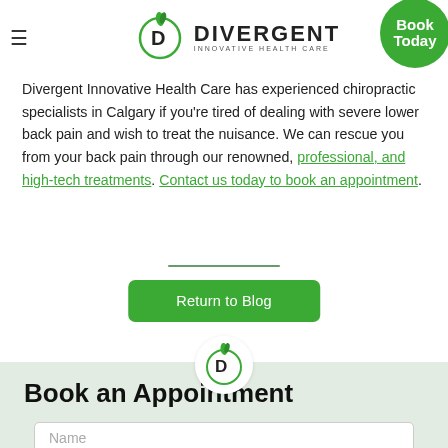Divergent Innovative Health Care — Book Today
Divergent Innovative Health Care has experienced chiropractic specialists in Calgary if you're tired of dealing with severe lower back pain and wish to treat the nuisance. We can rescue you from your back pain through our renowned, professional, and high-tech treatments. Contact us today to book an appointment.
[Figure (illustration): Green horizontal divider line]
Return to Blog
[Figure (logo): Divergent Innovative Health Care circular logo with D monogram and leaf]
Book an Appointment
Name